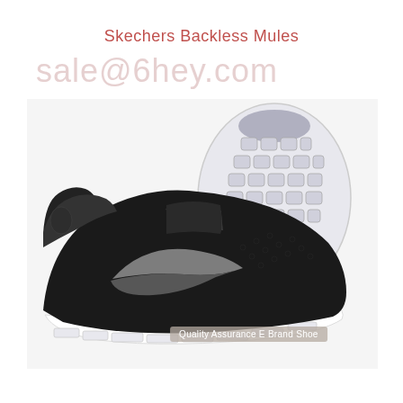Skechers Backless Mules
sale@6hey.com
[Figure (photo): Black Nike Free Run running shoe displayed from the side, with a separate view of the white segmented rubber sole from above/bottom angle. The shoe is predominantly black with a silver Nike swoosh and white midsole/outsole.]
Quality Assurance E Brand Shoe